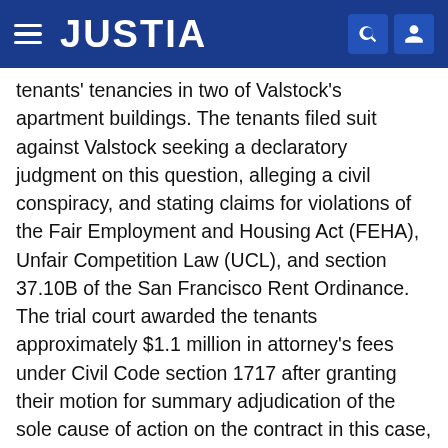JUSTIA
tenants' tenancies in two of Valstock's apartment buildings. The tenants filed suit against Valstock seeking a declaratory judgment on this question, alleging a civil conspiracy, and stating claims for violations of the Fair Employment and Housing Act (FEHA), Unfair Competition Law (UCL), and section 37.10B of the San Francisco Rent Ordinance. The trial court awarded the tenants approximately $1.1 million in attorney's fees under Civil Code section 1717 after granting their motion for summary adjudication of the sole cause of action on the contract in this case, before trial or disposition of the remaining non-contract causes of action. The defendants appealed, arguing the award of attorney's fees was premature because the litigation as a whole had not yet ended. To this the Court of Appeal agreed and therefore reversed. View "Chen v. Valstock Ventures, LLC" on Justia